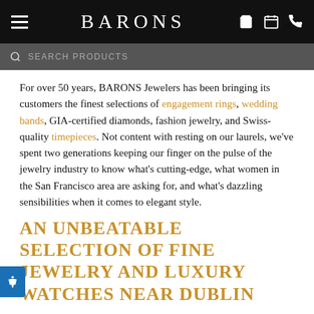BARONS
SEARCH PRODUCTS
For over 50 years, BARONS Jewelers has been bringing its customers the finest selections of engagement rings, wedding bands, GIA-certified diamonds, fashion jewelry, and Swiss-quality timepieces. Not content with resting on our laurels, we've spent two generations keeping our finger on the pulse of the jewelry industry to know what's cutting-edge, what women in the San Francisco area are asking for, and what's dazzling sensibilities when it comes to elegant style.
AN UNBEATABLE SELECTION OF FINE JEWELRY AND LUXURY WATCHES NEAR DUBLIN
Known for our goal of bringing luxury jewelry to Dublin at affordable prices, BARONS Jewelers is an authorized retailer of